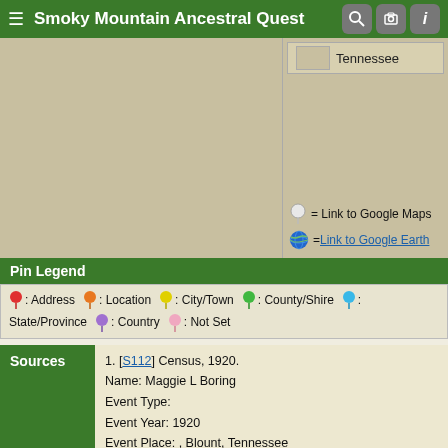Smoky Mountain Ancestral Quest
[Figure (map): Map area showing geographic region including Tennessee, split into a main large map panel and a smaller side panel with a Tennessee label inset]
= Link to Google Maps
= Link to Google Earth
Pin Legend
: Address  : Location  : City/Town  : County/Shire  : State/Province  : Country  : Not Set
Sources
1. [S112] Census, 1920.
Name: Maggie L Boring
Event Type:
Event Year: 1920
Event Place: , Blount, Tennessee
Gender: Female
Age: 6
Marital Status: Single
Race: White